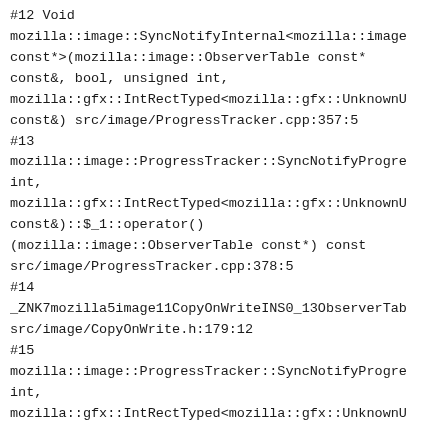#12 Void
mozilla::image::SyncNotifyInternal<mozilla::image const*>(mozilla::image::ObserverTable const* const&, bool, unsigned int, mozilla::gfx::IntRectTyped<mozilla::gfx::UnknownUnits> const&) src/image/ProgressTracker.cpp:357:5
#13
mozilla::image::ProgressTracker::SyncNotifyProgress int, mozilla::gfx::IntRectTyped<mozilla::gfx::UnknownUnits> const&)::$_1::operator()(mozilla::image::ObserverTable const*) const src/image/ProgressTracker.cpp:378:5
#14
_ZNK7mozilla5image11CopyOnWriteINS0_13ObserverTable src/image/CopyOnWrite.h:179:12
#15
mozilla::image::ProgressTracker::SyncNotifyProgress int, mozilla::gfx::IntRectTyped<mozilla::gfx::UnknownUnits>